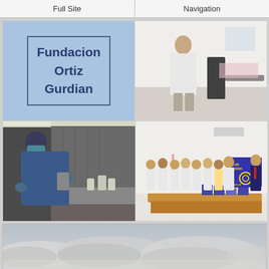Full Site | Navigation
[Figure (logo): Fundacion Ortiz Gurdian logo in blue text on light blue background with blue border]
[Figure (photo): Medical professional in white lab coat standing in a clinical room with medical equipment]
[Figure (photo): Lab technician in blue scrubs and mask working at a lab bench with vials and equipment]
[Figure (photo): Group photo of medical staff in white coats with Club Rotario Managua Ticapa banner and medical supplies on table]
[Figure (photo): Cloudy sky landscape photo]